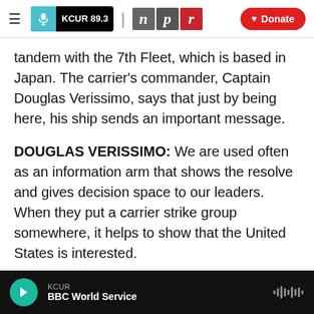KCUR 89.3 | npr | Donate
tandem with the 7th Fleet, which is based in Japan. The carrier's commander, Captain Douglas Verissimo, says that just by being here, his ship sends an important message.
DOUGLAS VERISSIMO: We are used often as an information arm that shows the resolve and gives decision space to our leaders. When they put a carrier strike group somewhere, it helps to show that the United States is interested.
KUHN: Both the Obama and Trump administrations have expressed a heightened interest in Asia. And
KCUR | BBC World Service